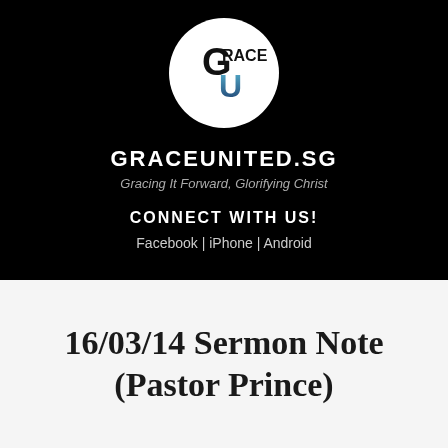[Figure (logo): Grace United circular logo with G and U letters, blue gradient on U, white background circle on black]
GRACEUNITED.SG
Gracing It Forward, Glorifying Christ
CONNECT WITH US!
Facebook | iPhone | Android
16/03/14 Sermon Note (Pastor Prince)